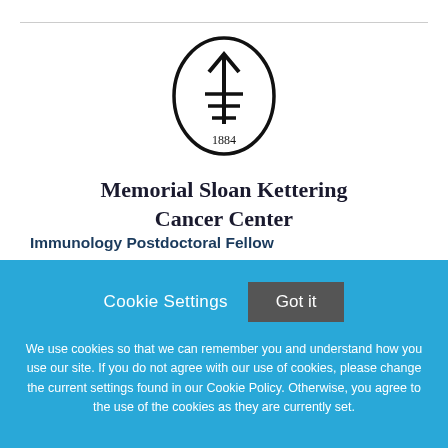[Figure (logo): Memorial Sloan Kettering Cancer Center logo — circular emblem with upward arrow and horizontal lines, dated 1884]
Memorial Sloan Kettering Cancer Center
Immunology Postdoctoral Fellow
Cookie Settings  Got it
We use cookies so that we can remember you and understand how you use our site. If you do not agree with our use of cookies, please change the current settings found in our Cookie Policy. Otherwise, you agree to the use of the cookies as they are currently set.